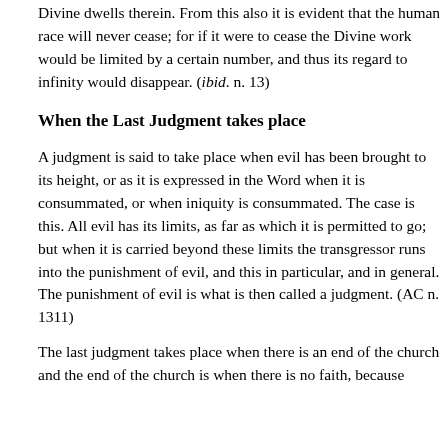Divine dwells therein. From this also it is evident that the human race will never cease; for if it were to cease the Divine work would be limited by a certain number, and thus its regard to infinity would disappear. (ibid. n. 13)
When the Last Judgment takes place
A judgment is said to take place when evil has been brought to its height, or as it is expressed in the Word when it is consummated, or when iniquity is consummated. The case is this. All evil has its limits, as far as which it is permitted to go; but when it is carried beyond these limits the transgressor runs into the punishment of evil, and this in particular, and in general. The punishment of evil is what is then called a judgment. (AC n. 1311)
The last judgment takes place when there is an end of the church and the end of the church is when there is no faith, because